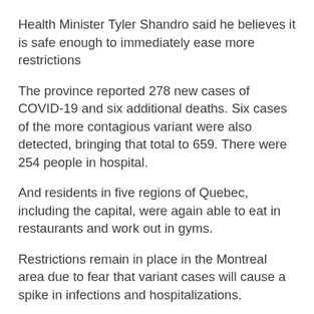Health Minister Tyler Shandro said he believes it is safe enough to immediately ease more restrictions
The province reported 278 new cases of COVID-19 and six additional deaths. Six cases of the more contagious variant were also detected, bringing that total to 659. There were 254 people in hospital.
And residents in five regions of Quebec, including the capital, were again able to eat in restaurants and work out in gyms.
Restrictions remain in place in the Montreal area due to fear that variant cases will cause a spike in infections and hospitalizations.
Quebec reported 579 new cases in its update. New daily infections had been above 700 for the five previous days. The province also recorded nine more deaths.